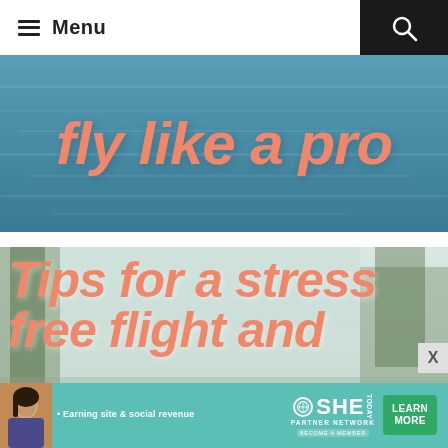≡ Menu
[Figure (photo): Ocean/sea water background with large salmon/coral italic bold text overlay reading 'fly like a pro']
fly like a pro
[Figure (photo): Outdoor scene with trees and sky background, large salmon/coral italic bold text overlay reading 'Tips for a stress free flight and']
Tips for a stress free flight and
[Figure (infographic): SHE Media partner network advertisement banner with teal background, woman photo, bullet point 'Earning site & social revenue', SHE TODAY logo, LEARN MORE button]